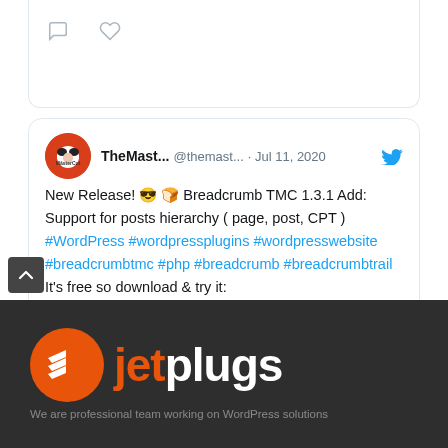[Figure (screenshot): Top of a Twitter/social card showing comment and like icons (speech bubble and heart outlines)]
[Figure (screenshot): Tweet card from TheMast... (@themast...) dated Jul 11, 2020. Text: New Release! 😎🍞 Breadcrumb TMC 1.3.1 Add: Support for posts hierarchy ( page, post, CPT ) #WordPress #wordpressplugins #wordpresswebsite #breadcrumbtmc #php #breadcrumb #breadcrumbtrail It's free so download & try it: wordpress.org/plugins/breadc…]
[Figure (logo): JetPlugs logo on dark background — orange circular icon with white chevrons and text 'jetplugs' in orange and white]
We are professional team working on WordPress solutions